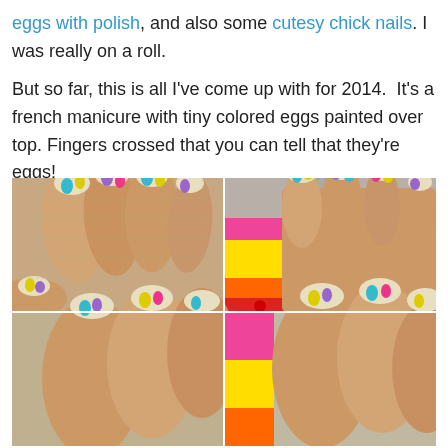eggs with polish, and also some cutesy chick nails. I was really on a roll.

But so far, this is all I've come up with for 2014. It's a french manicure with tiny colored eggs painted over top. Fingers crossed that you can tell that they're eggs!
[Figure (photo): Four photos showing Easter egg nail art — a french manicure with tiny colored eggs (teal, yellow, purple, pink) painted on a plaid/shimmer base. Top-left: hand showing four fingers with nail art. Top-right: close-up of nails next to a colorful toy/charm. Bottom-left: another close-up angle of the nail art. Bottom-right: nails next to bright yellow/pink/orange object.]